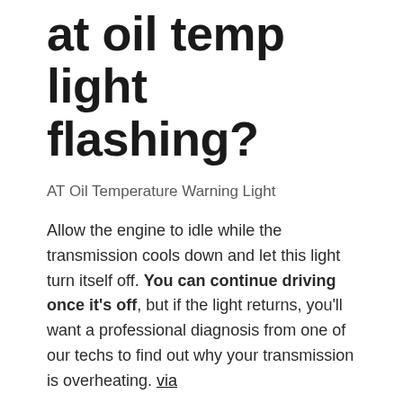at oil temp light flashing?
AT Oil Temperature Warning Light
Allow the engine to idle while the transmission cools down and let this light turn itself off. You can continue driving once it's off, but if the light returns, you'll want a professional diagnosis from one of our techs to find out why your transmission is overheating. via
What is normal oil